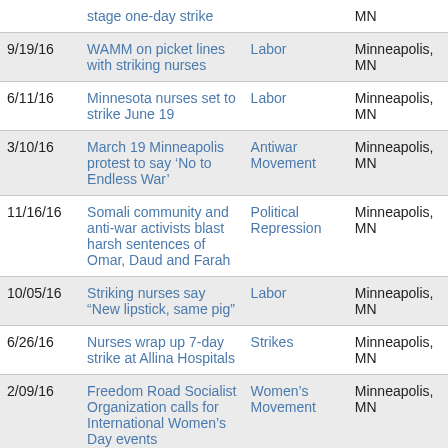| Date | Title | Category | Location |
| --- | --- | --- | --- |
|  | stage one-day strike |  | MN |
| 9/19/16 | WAMM on picket lines with striking nurses | Labor | Minneapolis, MN |
| 6/11/16 | Minnesota nurses set to strike June 19 | Labor | Minneapolis, MN |
| 3/10/16 | March 19 Minneapolis protest to say ‘No to Endless War’ | Antiwar Movement | Minneapolis, MN |
| 11/16/16 | Somali community and anti-war activists blast harsh sentences of Omar, Daud and Farah | Political Repression | Minneapolis, MN |
| 10/05/16 | Striking nurses say “New lipstick, same pig” | Labor | Minneapolis, MN |
| 6/26/16 | Nurses wrap up 7-day strike at Allina Hospitals | Strikes | Minneapolis, MN |
| 2/09/16 | Freedom Road Socialist Organization calls for International Women’s Day events | Women's Movement | Minneapolis, MN |